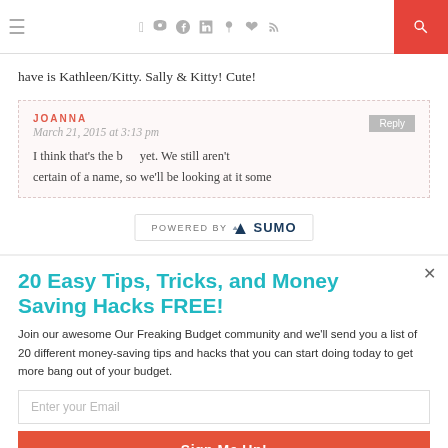≡  [social icons: f, twitter, instagram, pinterest, heart, rss]  [search]
have is Kathleen/Kitty. Sally & Kitty! Cute!
JOANNA
March 21, 2015 at 3:13 pm
I think that's the b... yet. We still aren't certain of a name, so we'll be looking at it some
[Figure (logo): POWERED BY SUMO logo banner]
20 Easy Tips, Tricks, and Money Saving Hacks FREE!
Join our awesome Our Freaking Budget community and we'll send you a list of 20 different money-saving tips and hacks that you can start doing today to get more bang out of your budget.
Enter your Email
Sign Me Up!